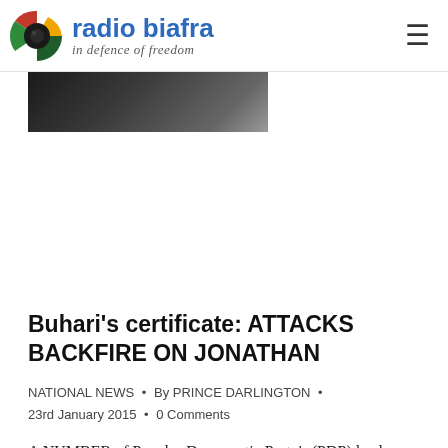radio biafra – in defence of freedom
[Figure (photo): Partial image strip showing a dark photograph, partially visible at top of content area]
Buhari's certificate: ATTACKS BACKFIRE ON JONATHAN
NATIONAL NEWS · By PRINCE DARLINGTON · 23rd January 2015 · 0 Comments
A NUMBER of Peoples Democratic Party's (PDP) leaders from the North are at loggerheads with the